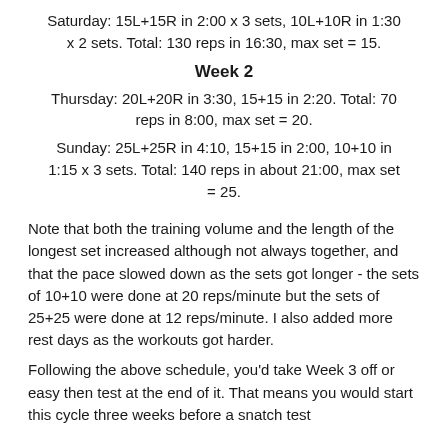Saturday: 15L+15R in 2:00 x 3 sets, 10L+10R in 1:30 x 2 sets. Total: 130 reps in 16:30, max set = 15.
Week 2
Thursday: 20L+20R in 3:30, 15+15 in 2:20. Total: 70 reps in 8:00, max set = 20.
Sunday: 25L+25R in 4:10, 15+15 in 2:00, 10+10 in 1:15 x 3 sets. Total: 140 reps in about 21:00, max set = 25.
Note that both the training volume and the length of the longest set increased although not always together, and that the pace slowed down as the sets got longer - the sets of 10+10 were done at 20 reps/minute but the sets of 25+25 were done at 12 reps/minute. I also added more rest days as the workouts got harder.
Following the above schedule, you'd take Week 3 off or easy then test at the end of it. That means you would start this cycle three weeks before a snatch test